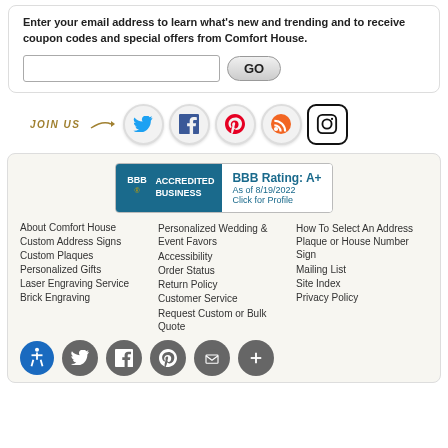Enter your email address to learn what's new and trending and to receive coupon codes and special offers from Comfort House.
[Figure (infographic): Email input field and GO button]
[Figure (infographic): JOIN US social media icons: Twitter, Facebook, Pinterest, RSS, Instagram]
[Figure (logo): BBB Accredited Business badge - Rating A+ as of 8/19/2022, Click for Profile]
About Comfort House
Custom Address Signs
Custom Plaques
Personalized Gifts
Laser Engraving Service
Brick Engraving
Personalized Wedding & Event Favors
Accessibility
Order Status
Return Policy
Customer Service
Request Custom or Bulk Quote
How To Select An Address Plaque or House Number Sign
Mailing List
Site Index
Privacy Policy
[Figure (infographic): Bottom social media icons: Twitter, Facebook, Pinterest, RSS/mail, plus button - all dark gray circles]